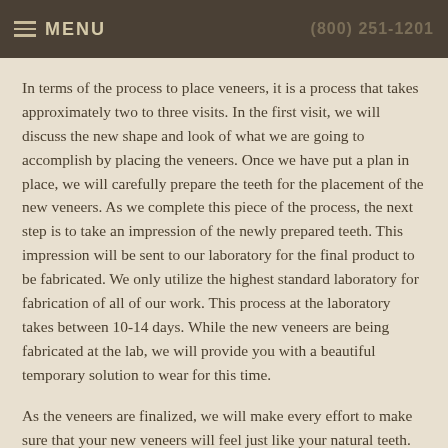MENU  (800) 251-1201
In terms of the process to place veneers, it is a process that takes approximately two to three visits. In the first visit, we will discuss the new shape and look of what we are going to accomplish by placing the veneers. Once we have put a plan in place, we will carefully prepare the teeth for the placement of the new veneers. As we complete this piece of the process, the next step is to take an impression of the newly prepared teeth. This impression will be sent to our laboratory for the final product to be fabricated. We only utilize the highest standard laboratory for fabrication of all of our work. This process at the laboratory takes between 10-14 days. While the new veneers are being fabricated at the lab, we will provide you with a beautiful temporary solution to wear for this time.
As the veneers are finalized, we will make every effort to make sure that your new veneers will feel just like your natural teeth. We will bond them into place ensuring that you can enjoy your new smile for a very long time!